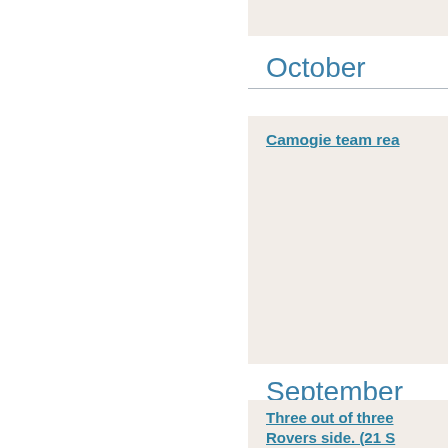October
Camogie team rea...
September
Three out of three... Rovers side. (21 S...